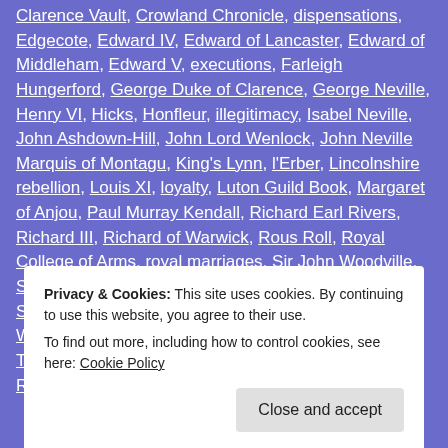Clarence Vault, Crowland Chronicle, dispensations, Edgecote, Edward IV, Edward of Lancaster, Edward of Middleham, Edward V, executions, Farleigh Hungerford, George Duke of Clarence, George Neville, Henry VI, Hicks, Honfleur, illegitimacy, Isabel Neville, John Ashdown-Hill, John Lord Wenlock, John Neville Marquis of Montagu, King's Lynn, l'Erber, Lincolnshire rebellion, Louis XI, loyalty, Luton Guild Book, Margaret of Anjou, Paul Murray Kendall, Richard Earl Rivers, Richard III, Richard of Warwick, Rous Roll, Royal College of Arms, royal marriages, Sir John Woodville, Sir Robert Wolles, ...
Privacy & Cookies: This site uses cookies. By continuing to use this website, you agree to their use. To find out more, including how to control cookies, see here: Cookie Policy